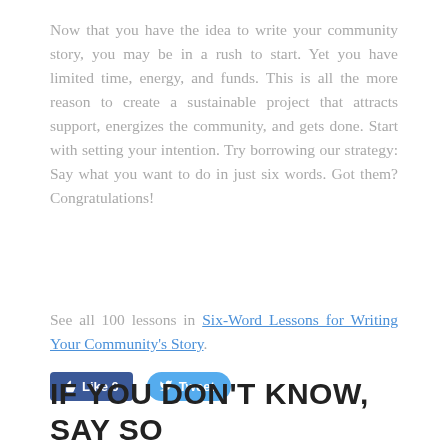Now that you have the idea to write your community story, you may be in a rush to start. Yet you have limited time, energy, and funds. This is all the more reason to create a sustainable project that attracts support, energizes the community, and gets done. Start with setting your intention. Try borrowing our strategy: Say what you want to do in just six words. Got them? Congratulations!
See all 100 lessons in Six-Word Lessons for Writing Your Community's Story.
[Figure (other): Social media buttons: Facebook Like (0) and Twitter Tweet]
IF YOU DON'T KNOW, SAY SO